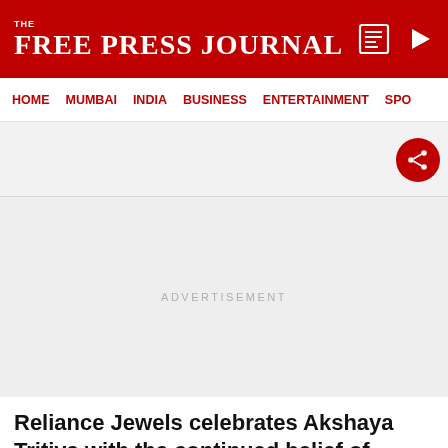THE FREE PRESS JOURNAL
HOME   MUMBAI   INDIA   BUSINESS   ENTERTAINMENT   SPO
[Figure (other): Advertisement placeholder area with share button]
ADVERTISEMENT
Reliance Jewels celebrates Akshaya Tritiya with the continued belief of bringing home prosperity and